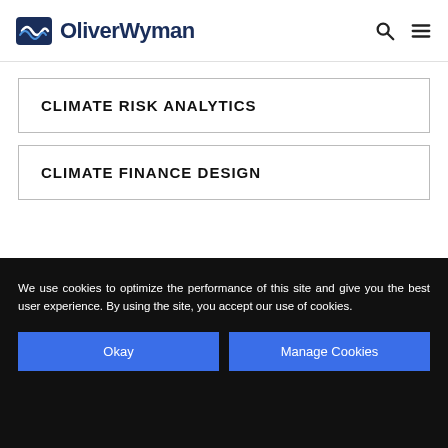OliverWyman
CLIMATE RISK ANALYTICS
CLIMATE FINANCE DESIGN
We use cookies to optimize the performance of this site and give you the best user experience. By using the site, you accept our use of cookies.
Okay
Manage Cookies